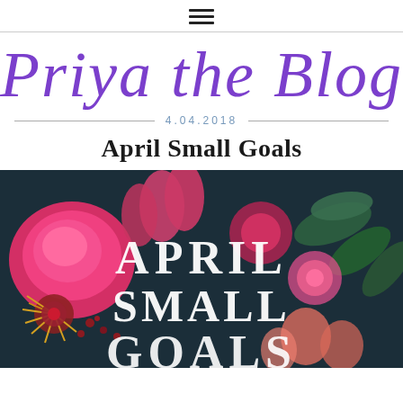≡
Priya the Blog
4.04.2018
April Small Goals
[Figure (photo): Colorful flower arrangement with pink peonies, tropical leaves, and bold white text overlay reading APRIL SMALL GOALS on a dark background]